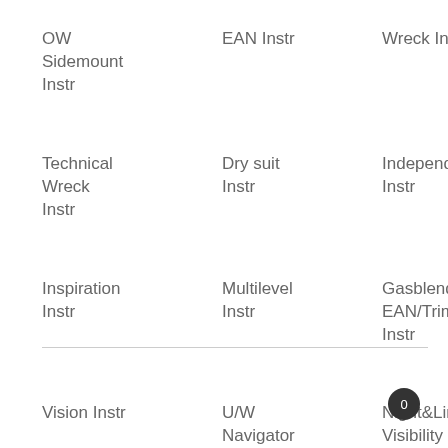OW
EAN Instr
Wreck Instr
Sidemount Instr
Technical Wreck Instr
Dry suit Instr
Independent Instr
Inspiration Instr
Multilevel Instr
Gasblender EAN/Trimix Instr
Vision Instr
U/W Navigator
Night&Limited Visibility Instr